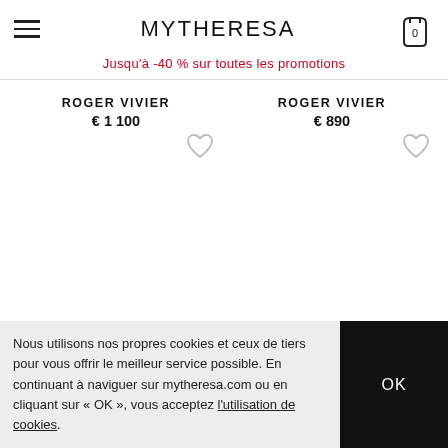MYTHERESA
Jusqu'à -40 % sur toutes les promotions
ROGER VIVIER
€ 1 100
ROGER VIVIER
€ 890
Nous utilisons nos propres cookies et ceux de tiers pour vous offrir le meilleur service possible. En continuant à naviguer sur mytheresa.com ou en cliquant sur « OK », vous acceptez l'utilisation de cookies.